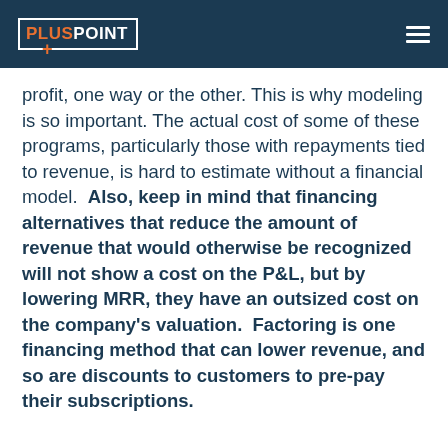PLUSPOINT
profit, one way or the other. This is why modeling is so important. The actual cost of some of these programs, particularly those with repayments tied to revenue, is hard to estimate without a financial model.  Also, keep in mind that financing alternatives that reduce the amount of revenue that would otherwise be recognized will not show a cost on the P&L, but by lowering MRR, they have an outsized cost on the company's valuation.  Factoring is one financing method that can lower revenue, and so are discounts to customers to pre-pay their subscriptions.